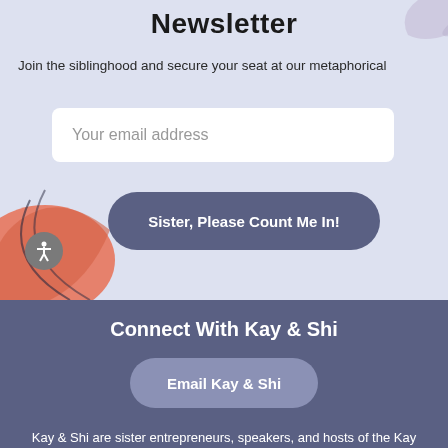Newsletter
Join the siblinghood and secure your seat at our metaphorical
Your email address
Sister, Please Count Me In!
Connect With Kay & Shi
Email Kay & Shi
Kay & Shi are sister entrepreneurs, speakers, and hosts of the Kay & Shi Show, a podcast designed to educate, inspire,